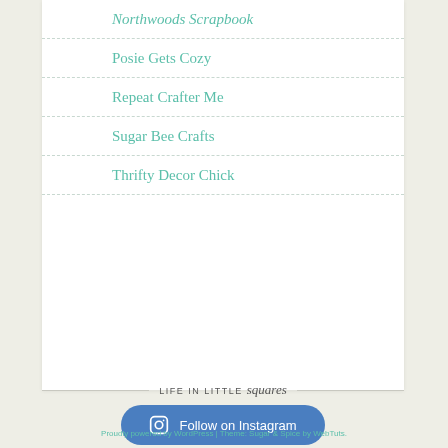Northwoods Scrapbook
Posie Gets Cozy
Repeat Crafter Me
Sugar Bee Crafts
Thrifty Decor Chick
LIFE IN LITTLE squares
Follow on Instagram
Proudly powered by WordPress | Theme: Sugar & Spice by WebTuts.